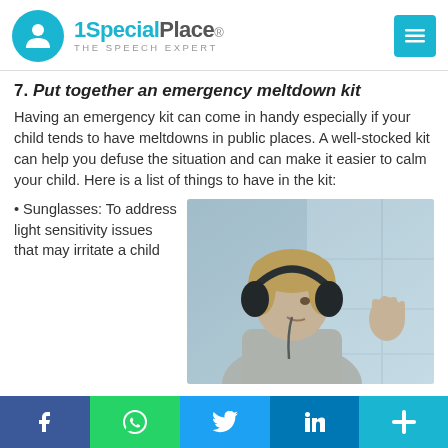1SpecialPlace. THE SPEECH EXPERT
7. Put together an emergency meltdown kit
Having an emergency kit can come in handy especially if your child tends to have meltdowns in public places. A well-stocked kit can help you defuse the situation and can make it easier to calm your child. Here is a list of things to have in the kit:
• Sunglasses: To address light sensitivity issues that may irritate a child
[Figure (photo): A young child wearing large headphones looking out a window with hand pressed against glass, in a blue-tinted interior setting.]
Facebook | WhatsApp | Twitter | LinkedIn | Share